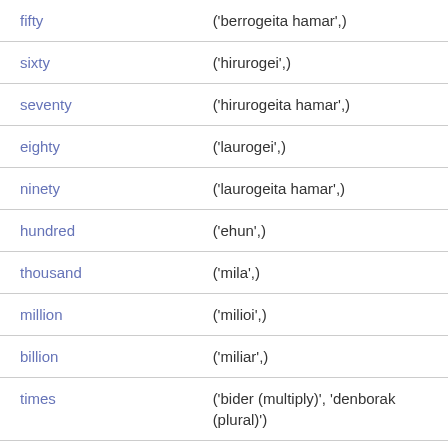| English | Basque |
| --- | --- |
| fifty | ('berrogeita hamar',) |
| sixty | ('hirurogei',) |
| seventy | ('hirurogeita hamar',) |
| eighty | ('laurogei',) |
| ninety | ('laurogeita hamar',) |
| hundred | ('ehun',) |
| thousand | ('mila',) |
| million | ('milioi',) |
| billion | ('miliar',) |
| times | ('bider (multiply)', 'denborak (plural)') |
| multiplied | ('bider (part of multiplied by)',) |